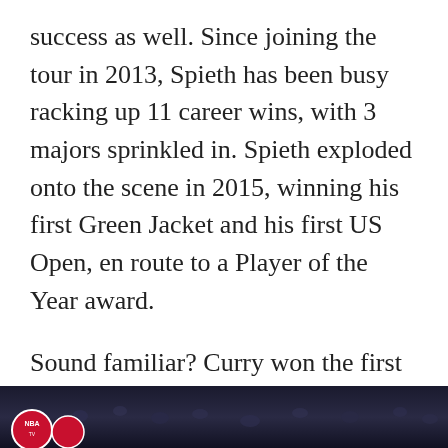success as well. Since joining the tour in 2013, Spieth has been busy racking up 11 career wins, with 3 majors sprinkled in. Spieth exploded onto the scene in 2015, winning his first Green Jacket and his first US Open, en route to a Player of the Year award.
Sound familiar? Curry won the first of 2 MVPS and 2 NBA Titles in 2015. Lastly, Curry and Spieth share ice in their veins. Capable of fireworks from anywhere, Jordan isn't fazed by a silly sand trap on his way to victory:
[Figure (photo): Dark photograph at bottom of page showing a crowd scene, partially visible with a red circular logo/badge in the lower left corner]